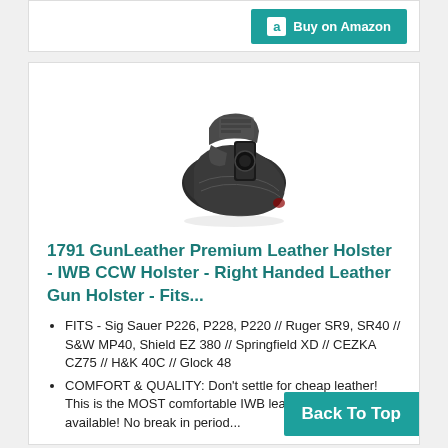[Figure (screenshot): Buy on Amazon button with teal background and Amazon logo icon]
[Figure (photo): 1791 GunLeather Premium Leather IWB holster with a handgun inserted, shown on white background]
1791 GunLeather Premium Leather Holster - IWB CCW Holster - Right Handed Leather Gun Holster - Fits...
FITS - Sig Sauer P226, P228, P220 // Ruger SR9, SR40 // S&W MP40, Shield EZ 380 // Springfield XD // CEZKA CZ75 // H&K 40C // Glock 48
COMFORT & QUALITY: Don't settle for cheap leather! This is the MOST comfortable IWB leather holster available! No break in period...